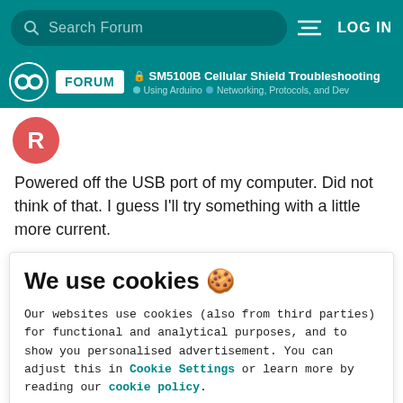Search Forum | LOG IN
SM5100B Cellular Shield Troubleshooting | Using Arduino | Networking, Protocols, and Dev
[Figure (illustration): Red circular avatar with letter R]
Powered off the USB port of my computer. Did not think of that. I guess I'll try something with a little more current.
We use cookies 🍪
Our websites use cookies (also from third parties) for functional and analytical purposes, and to show you personalised advertisement. You can adjust this in Cookie Settings or learn more by reading our cookie policy.
ONLY REQUIRED
ACCEPT ALL